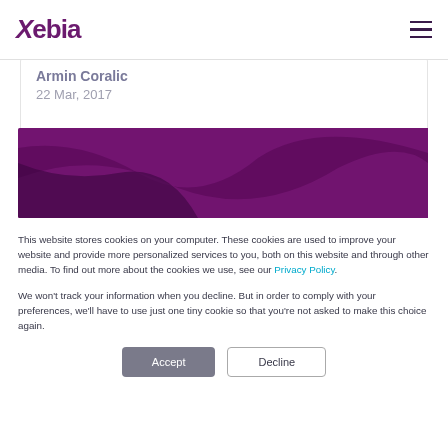Xebia
Armin Coralic
22 Mar, 2017
[Figure (illustration): Purple gradient banner image with curved wave design in dark purple and lighter purple tones]
This website stores cookies on your computer. These cookies are used to improve your website and provide more personalized services to you, both on this website and through other media. To find out more about the cookies we use, see our Privacy Policy.

We won't track your information when you decline. But in order to comply with your preferences, we'll have to use just one tiny cookie so that you're not asked to make this choice again.